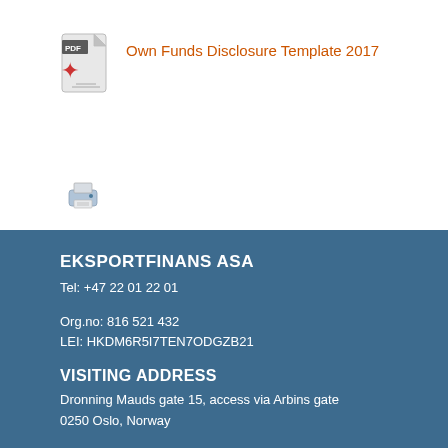[Figure (illustration): PDF file icon with 'PDF' label and Adobe Acrobat-style document graphic]
Own Funds Disclosure Template 2017
[Figure (illustration): Printer icon for print functionality]
EKSPORTFINANS ASA
Tel: +47 22 01 22 01
Org.no: 816 521 432
LEI: HKDM6R5I7TEN7ODGZB21
VISITING ADDRESS
Dronning Mauds gate 15, access via Arbins gate
0250 Oslo, Norway